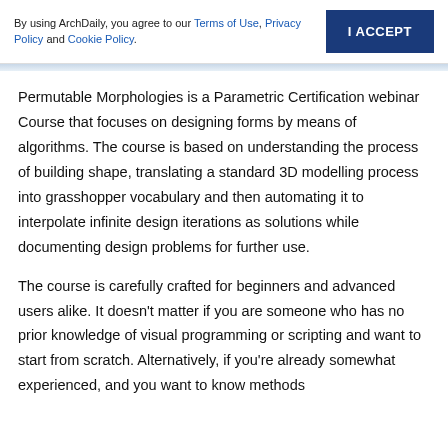By using ArchDaily, you agree to our Terms of Use, Privacy Policy and Cookie Policy.
I ACCEPT
Permutable Morphologies is a Parametric Certification webinar Course that focuses on designing forms by means of algorithms. The course is based on understanding the process of building shape, translating a standard 3D modelling process into grasshopper vocabulary and then automating it to interpolate infinite design iterations as solutions while documenting design problems for further use.
The course is carefully crafted for beginners and advanced users alike. It doesn’t matter if you are someone who has no prior knowledge of visual programming or scripting and want to start from scratch. Alternatively, if you’re already somewhat experienced, and you want to know methods